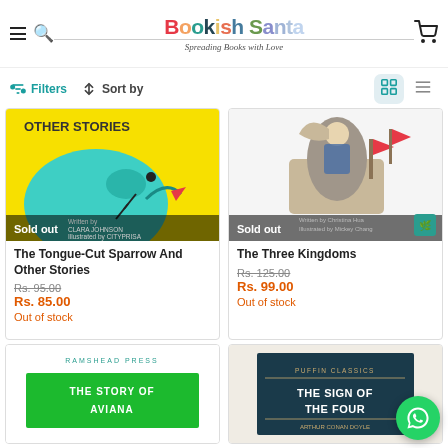Bookish Santa — Spreading Books with Love
Filters  Sort by
[Figure (photo): Book cover: The Tongue-Cut Sparrow And Other Stories — yellow background with teal bird]
Sold out
The Tongue-Cut Sparrow And Other Stories
Rs. 95.00
Rs. 85.00
Out of stock
[Figure (photo): Book cover: The Three Kingdoms — illustrated characters on horseback with flags]
Sold out
The Three Kingdoms
Rs. 125.00
Rs. 99.00
Out of stock
[Figure (photo): Partial book cover: The Story of Aviana — green cover]
[Figure (photo): Partial book cover: The Sign of the Four — dark cover, Puffin Classics]